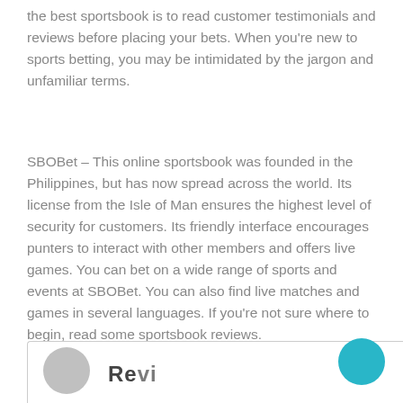the best sportsbook is to read customer testimonials and reviews before placing your bets. When you're new to sports betting, you may be intimidated by the jargon and unfamiliar terms.
SBOBet – This online sportsbook was founded in the Philippines, but has now spread across the world. Its license from the Isle of Man ensures the highest level of security for customers. Its friendly interface encourages punters to interact with other members and offers live games. You can bet on a wide range of sports and events at SBOBet. You can also find live matches and games in several languages. If you're not sure where to begin, read some sportsbook reviews.